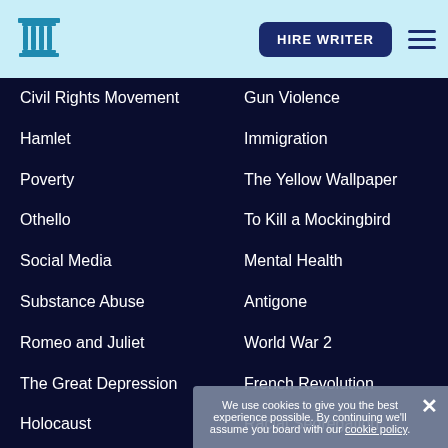[Figure (logo): Column/pillar logo icon in teal/blue on light blue background]
Civil Rights Movement
Gun Violence
Hamlet
Immigration
Poverty
The Yellow Wallpaper
Othello
To Kill a Mockingbird
Social Media
Mental Health
Substance Abuse
Antigone
Romeo and Juliet
World War 2
The Great Depression
French Revolution
Holocaust
Racial Segregation
Feminist Theory
Sex Trafficking
Childhood Trauma
We use cookies to give you the best experience possible. By continuing we'll assume you board with our cookie policy.